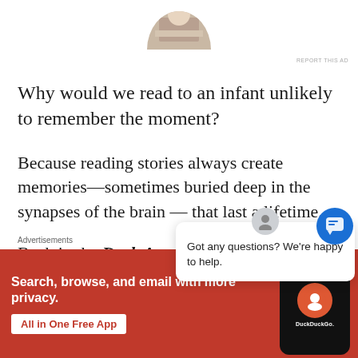[Figure (photo): Partial circular cropped photo of a person reading, visible at the top center of the page]
REPORT THIS AD
Why would we read to an infant unlikely to remember the moment?
Because reading stories always create memories—sometimes buried deep in the synapses of the brain — that last a lifetime.
Back in the Dark Ages eBooks, my grandfath
Advertisements
[Figure (screenshot): DuckDuckGo advertisement banner with orange/red background showing 'Search, browse, and email with more privacy. All in One Free App' with a phone displaying the DuckDuckGo app]
[Figure (infographic): Chat popup overlay saying 'Got any questions? We're happy to help.' with a user avatar icon and close button, plus a blue chat button in the corner]